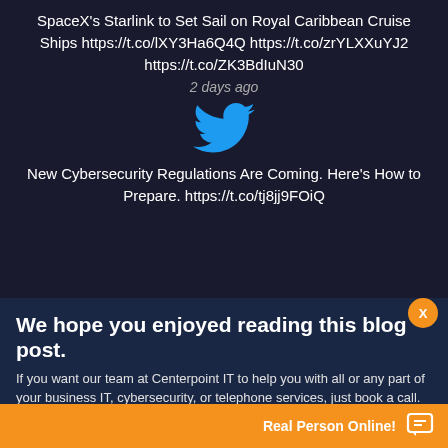SpaceX's Starlink to Set Sail on Royal Caribbean Cruise Ships https://t.co/lXY3Ha6Q4Q https://t.co/zrYLXXuYJ2 https://t.co/ZK3BdIuN30
2 days ago
[Figure (logo): Twitter bird logo in blue]
New Cybersecurity Regulations Are Coming. Here's How to Prepare. https://t.co/tj8jj9FOiQ
We hope you enjoyed reading this blog post.
If you want our team at Centerpoint IT to help you with all or any part of your business IT, cybersecurity, or telephone services, just book a call.
BOOK A CALL
Real Person Online!